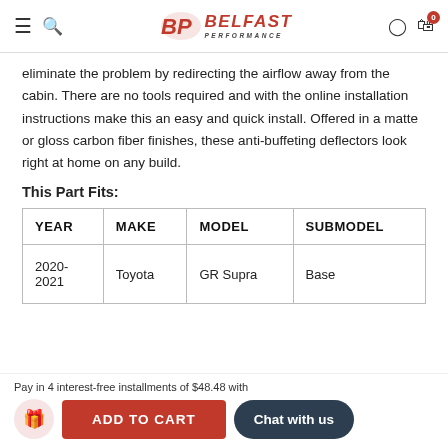[Figure (logo): Belfast Performance logo with hamburger menu and search icon on left, user and cart icons on right]
eliminate the problem by redirecting the airflow away from the cabin. There are no tools required and with the online installation instructions make this an easy and quick install. Offered in a matte or gloss carbon fiber finishes, these anti-buffeting deflectors look right at home on any build.
This Part Fits:
| YEAR | MAKE | MODEL | SUBMODEL |
| --- | --- | --- | --- |
| 2020-2021 | Toyota | GR Supra | Base |
Pay in 4 interest-free installments of $48.48 with
ADD TO CART
Chat with us